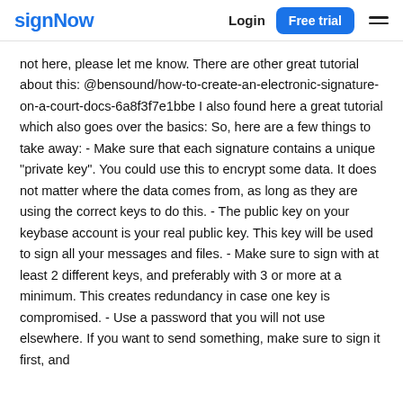signNow | Login | Free trial
not here, please let me know. There are other great tutorial about this: @bensound/how-to-create-an-electronic-signature-on-a-court-docs-6a8f3f7e1bbe I also found here a great tutorial which also goes over the basics: So, here are a few things to take away: - Make sure that each signature contains a unique "private key". You could use this to encrypt some data. It does not matter where the data comes from, as long as they are using the correct keys to do this. - The public key on your keybase account is your real public key. This key will be used to sign all your messages and files. - Make sure to sign with at least 2 different keys, and preferably with 3 or more at a minimum. This creates redundancy in case one key is compromised. - Use a password that you will not use elsewhere. If you want to send something, make sure to sign it first, and